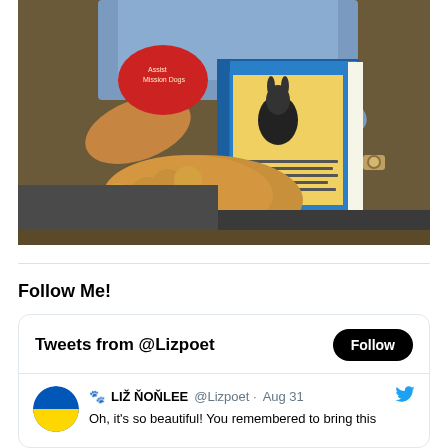[Figure (photo): A person sitting down holding a colorful children's book (with a blue cover featuring a kangaroo/rabbit character), while a golden/apricot curly-haired dog (possibly a poodle or goldendoodle) rests on their lap. The person is wearing a blue shirt and dark pants and a watch. A red stuffed toy is visible.]
Follow Me!
Tweets from @Lizpoet
🐾 LIŽ ŇOŇLEE @Lizpoet · Aug 31